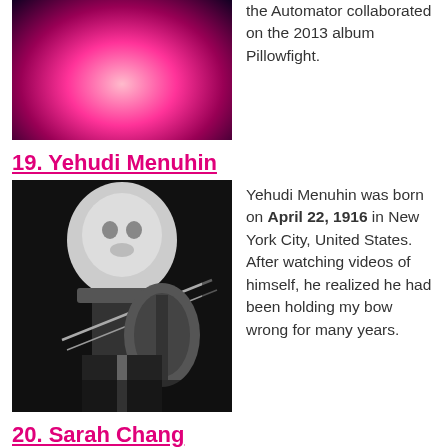[Figure (photo): Color photo of a woman singing into a microphone under pink/magenta stage lighting, partially cropped at top]
the Automator collaborated on the 2013 album Pillowfight.
19. Yehudi Menuhin
[Figure (photo): Black and white photo of Yehudi Menuhin playing violin, serious expression, formal attire]
Yehudi Menuhin was born on April 22, 1916 in New York City, United States. After watching videos of himself, he realized he had been holding my bow wrong for many years.
20. Sarah Chang
[Figure (photo): Black and white photo of Sarah Chang, partially visible, cropped at bottom]
Sarah Chang was born on December 10, 1980 in